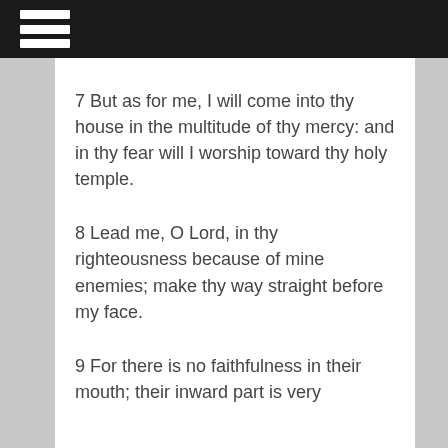7 But as for me, I will come into thy house in the multitude of thy mercy: and in thy fear will I worship toward thy holy temple.
8 Lead me, O Lord, in thy righteousness because of mine enemies; make thy way straight before my face.
9 For there is no faithfulness in their mouth; their inward part is very